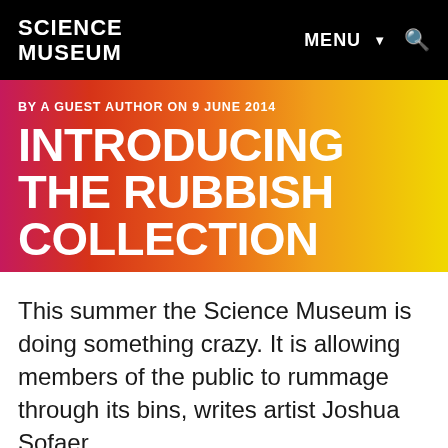SCIENCE MUSEUM
MENU ▼ Q
BY A GUEST AUTHOR ON 9 JUNE 2014
INTRODUCING THE RUBBISH COLLECTION
This summer the Science Museum is doing something crazy. It is allowing members of the public to rummage through its bins, writes artist Joshua Sofaer.